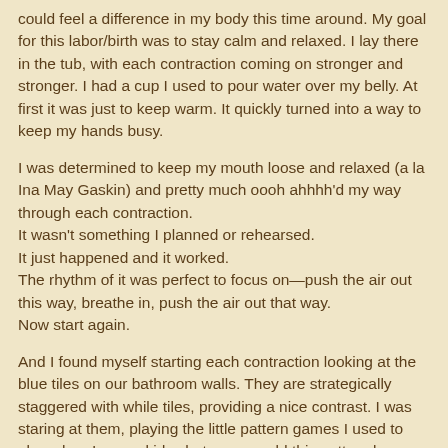could feel a difference in my body this time around. My goal for this labor/birth was to stay calm and relaxed. I lay there in the tub, with each contraction coming on stronger and stronger. I had a cup I used to pour water over my belly. At first it was just to keep warm. It quickly turned into a way to keep my hands busy.
I was determined to keep my mouth loose and relaxed (a la Ina May Gaskin) and pretty much oooh ahhhh'd my way through each contraction.
It wasn't something I planned or rehearsed.
It just happened and it worked.
The rhythm of it was perfect to focus on—push the air out this way, breathe in, push the air out that way.
Now start again.
And I found myself starting each contraction looking at the blue tiles on our bathroom walls. They are strategically staggered with while tiles, providing a nice contrast. I was staring at them, playing the little pattern games I used to play when I was a kid–what ways could this pattern be interpreted.